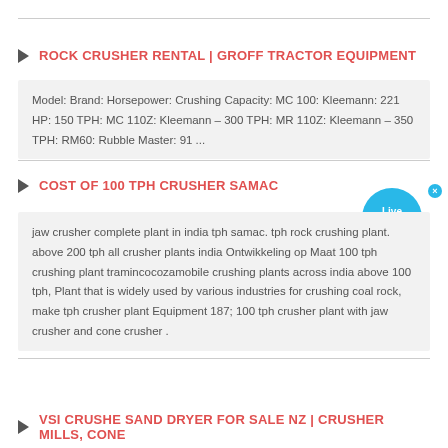ROCK CRUSHER RENTAL | GROFF TRACTOR EQUIPMENT
Model: Brand: Horsepower: Crushing Capacity: MC 100: Kleemann: 221 HP: 150 TPH: MC 110Z: Kleemann – 300 TPH: MR 110Z: Kleemann – 350 TPH: RM60: Rubble Master: 91 ...
COST OF 100 TPH CRUSHER SAMAC
jaw crusher complete plant in india tph samac. tph rock crushing plant. above 200 tph all crusher plants india Ontwikkeling op Maat 100 tph crushing plant tramincocozamobile crushing plants across india above 100 tph, Plant that is widely used by various industries for crushing coal rock, make tph crusher plant Equipment 187; 100 tph crusher plant with jaw crusher and cone crusher .
VSI CRUSHE SAND DRYER FOR SALE NZ | CRUSHER MILLS, CONE